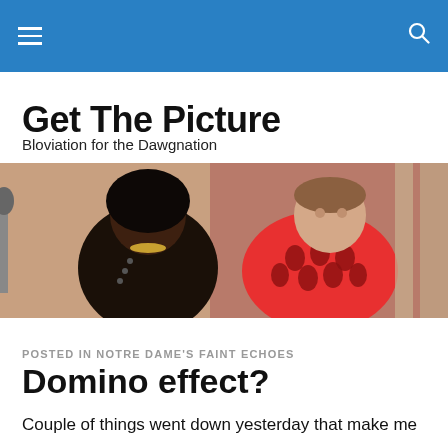Get The Picture
Get The Picture
Bloviation for the Dawgnation
[Figure (photo): Two men sitting side by side — one in a black leather jacket with jewelry, the other in a red patterned shirt — in a vintage-style photograph.]
POSTED IN NOTRE DAME'S FAINT ECHOES
Domino effect?
Couple of things went down yesterday that make me